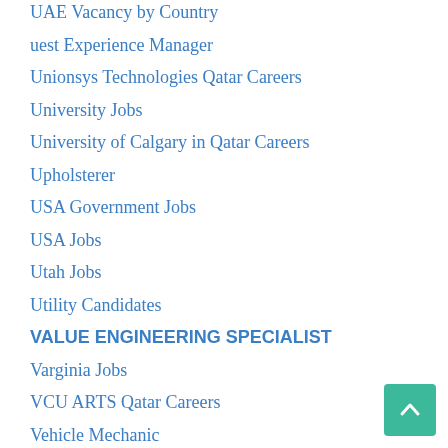UAE Vacancy by Country
uest Experience Manager
Unionsys Technologies Qatar Careers
University Jobs
University of Calgary in Qatar Careers
Upholsterer
USA Government Jobs
USA Jobs
Utah Jobs
Utility Candidates
VALUE ENGINEERING SPECIALIST
Varginia Jobs
VCU ARTS Qatar Careers
Vehicle Mechanic